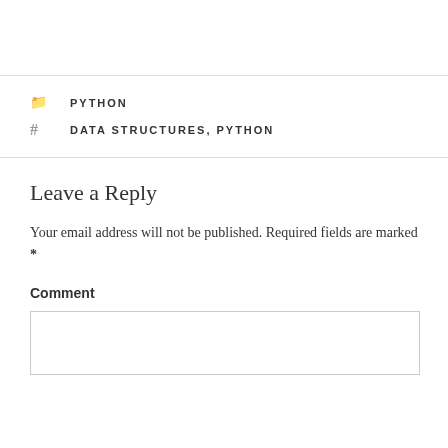PYTHON
DATA STRUCTURES, PYTHON
Leave a Reply
Your email address will not be published. Required fields are marked *
Comment